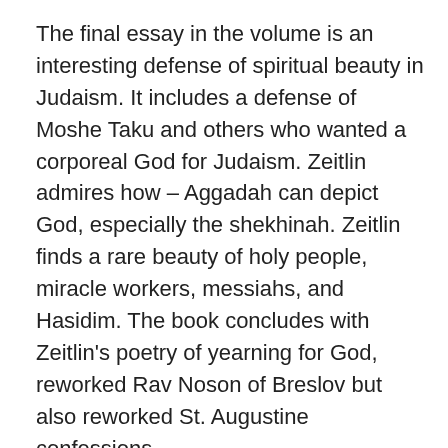The final essay in the volume is an interesting defense of spiritual beauty in Judaism. It includes a defense of Moshe Taku and others who wanted a corporeal God for Judaism. Zeitlin admires how – Aggadah can depict God, especially the shekhinah. Zeitlin finds a rare beauty of holy people, miracle workers, messiahs, and Hasidim. The book concludes with Zeitlin's poetry of yearning for God, reworked Rav Noson of Breslov but also reworked St. Augustine confessions.
My main reaction to this book is that I want more. There are so many essays of Zeitlin that could use translating, more than enough to fill a second volume.
The romantic reclamation of the Zohar is mentioned in this volume but I would have wanted to see a translation of Zeitlin's essay on translating the Zohar, and his essay on